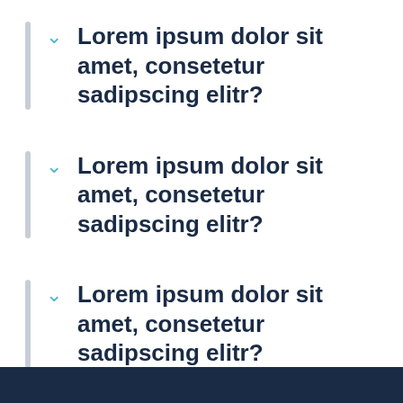Lorem ipsum dolor sit amet, consetetur sadipscing elitr?
Lorem ipsum dolor sit amet, consetetur sadipscing elitr?
Lorem ipsum dolor sit amet, consetetur sadipscing elitr?